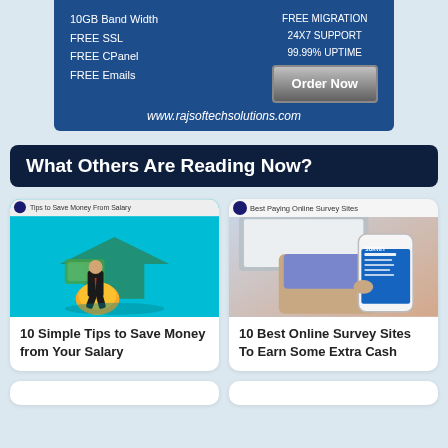[Figure (infographic): Web hosting advertisement banner with dark blue background showing features: 10GB Band Width, FREE SSL, FREE CPanel, FREE Emails on left; FREE MIGRATION, 24X7 SUPPORT, 99.99% UPTIME on right with Order Now button. URL: www.rajsoftechsolutions.com]
What Others Are Reading Now?
[Figure (photo): Article thumbnail: Tips to Save Money From Salary - illustration of businessman leaning on gold coin with money house background on teal]
10 Simple Tips to Save Money from Your Salary
[Figure (photo): Article thumbnail: Best Paying Online Survey Sites - photo of hands holding smartphone with survey form]
10 Best Online Survey Sites To Earn Some Extra Cash